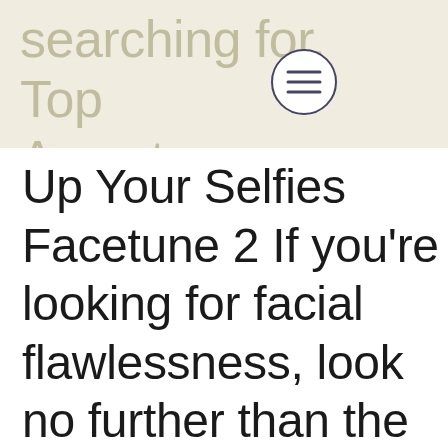searching for. Top Apps to Help Spice
Up Your Selfies Facetune 2 If you're looking for facial flawlessness, look no further than the app Facetune2©. This